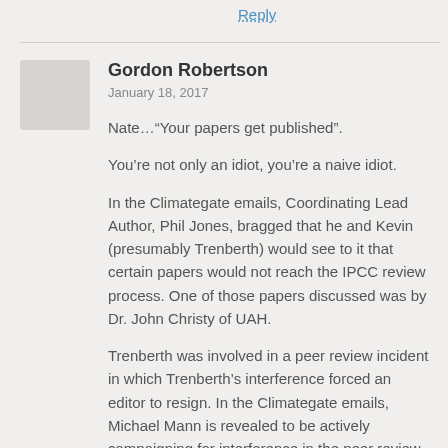Reply
Gordon Robertson
January 18, 2017
Nate…“Your papers get published”.
You’re not only an idiot, you’re a naive idiot.
In the Climategate emails, Coordinating Lead Author, Phil Jones, bragged that he and Kevin (presumably Trenberth) would see to it that certain papers would not reach the IPCC review process. One of those papers discussed was by Dr. John Christy of UAH.
Trenberth was involved in a peer review incident in which Trenberth’s interference forced an editor to resign. In the Climategate emails, Michael Mann is revealed to be actively campaigning for interference in the peer review process. He has actively insulted Dr. Judith Curry.